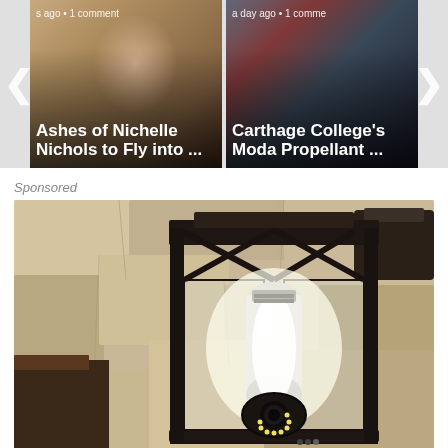[Figure (screenshot): Carousel of two news article cards with navigation arrows. Left card shows 'Ashes of Nichelle Nichols to Fly into ...' with meta 's ago • 1 comment'. Right card shows 'Carthage College's Modal Propellant ...' with meta 'a day ago • 1 comment'.]
Sponsored
[Figure (photo): Close-up photo of a black outdoor wall lantern mounted on a stone/stucco wall, with a bright white LED bulb inside and a camera lens visible at the bottom of the fixture.]